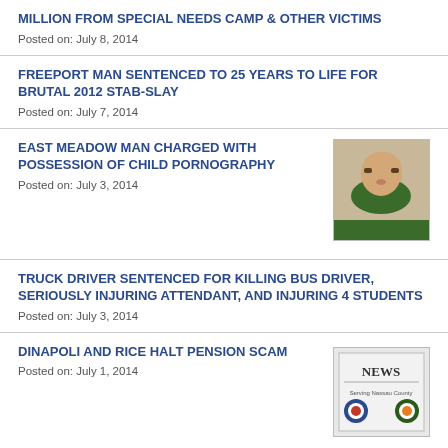MILLION FROM SPECIAL NEEDS CAMP & OTHER VICTIMS
Posted on: July 8, 2014
FREEPORT MAN SENTENCED TO 25 YEARS TO LIFE FOR BRUTAL 2012 STAB-SLAY
Posted on: July 7, 2014
EAST MEADOW MAN CHARGED WITH POSSESSION OF CHILD PORNOGRAPHY
Posted on: July 3, 2014
TRUCK DRIVER SENTENCED FOR KILLING BUS DRIVER, SERIOUSLY INJURING ATTENDANT, AND INJURING 4 STUDENTS
Posted on: July 3, 2014
DINAPOLI AND RICE HALT PENSION SCAM
Posted on: July 1, 2014
BOOKKEEPER SENTENCED TO PRISON AND RESTITUTION